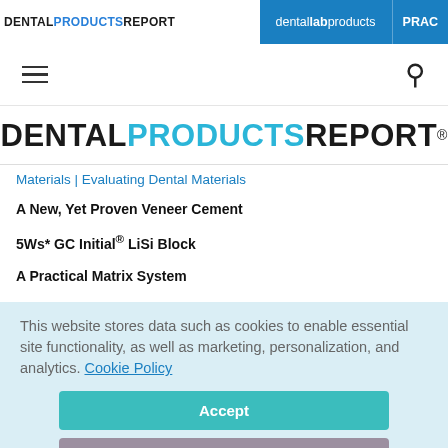DENTAL PRODUCTS REPORT | dental lab products | PRAC
[Figure (logo): Dental Products Report logo in top navigation bar]
Materials | Evaluating Dental Materials
A New, Yet Proven Veneer Cement
5Ws* GC Initial® LiSi Block
A Practical Matrix System
This website stores data such as cookies to enable essential site functionality, as well as marketing, personalization, and analytics. Cookie Policy
Accept
Deny